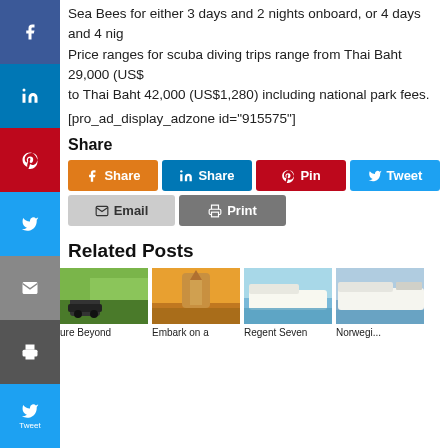Sea Bees for either 3 days and 2 nights onboard, or 4 days and 4 nig...
Price ranges for scuba diving trips range from Thai Baht 29,000 (US$... to Thai Baht 42,000 (US$1,280) including national park fees.
[pro_ad_display_adzone id="915575"]
Share
[Figure (screenshot): Social share buttons: Facebook Share, LinkedIn Share, Pinterest Pin, Twitter Tweet, Email, Print]
Related Posts
[Figure (photo): Adventure tourism photo with vehicle]
ure Beyond
[Figure (photo): Temple at sunset photo (Wat Arun, Bangkok)]
Embark on a
[Figure (photo): Regent Seven cruise ship]
Regent Seven
[Figure (photo): Norwegian cruise ship]
Norwegi...